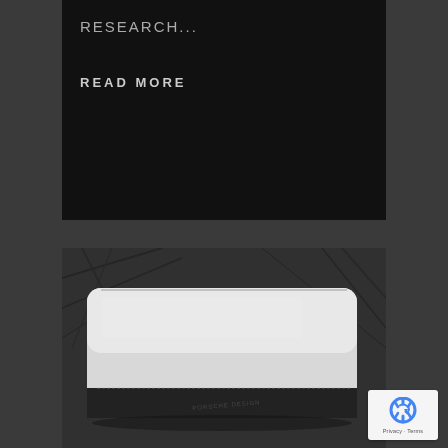RESEARCH...
READ MORE
[Figure (photo): Product photo of a white and black leather wallet or clutch on dark textured background, with embossed brand name on the front]
[Figure (logo): reCAPTCHA badge with Privacy - Terms text]